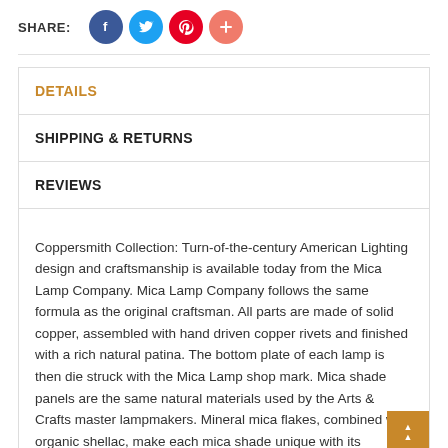[Figure (infographic): Social share bar with SHARE: label and four circular social media buttons: Facebook (dark blue), Twitter (light blue), Pinterest (red), and a plus/other button (orange-red)]
DETAILS
SHIPPING & RETURNS
REVIEWS
Coppersmith Collection: Turn-of-the-century American Lighting design and craftsmanship is available today from the Mica Lamp Company. Mica Lamp Company follows the same formula as the original craftsman. All parts are made of solid copper, assembled with hand driven copper rivets and finished with a rich natural patina. The bottom plate of each lamp is then die struck with the Mica Lamp shop mark. Mica shade panels are the same natural materials used by the Arts & Crafts master lampmakers. Mineral mica flakes, combined with organic shellac, make each mica shade unique with its variations of mineral deposit patterns and